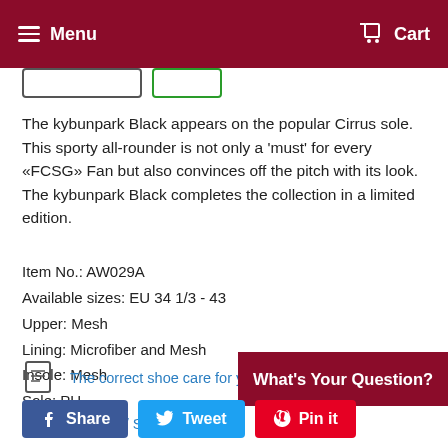Menu  Cart
The kybunpark Black appears on the popular Cirrus sole. This sporty all-rounder is not only a 'must' for every «FCSG» Fan but also convinces off the pitch with its look. The kybunpark Black completes the collection in a limited edition.
Item No.: AW029A
Available sizes: EU 34 1/3 - 43
Upper: Mesh
Lining: Microfiber and Mesh
Insole: Mesh
Sole: PU
The correct shoe care for your kybun shoe
Returns / Size exchange
What's Your Question?
Share  Tweet  Pin it